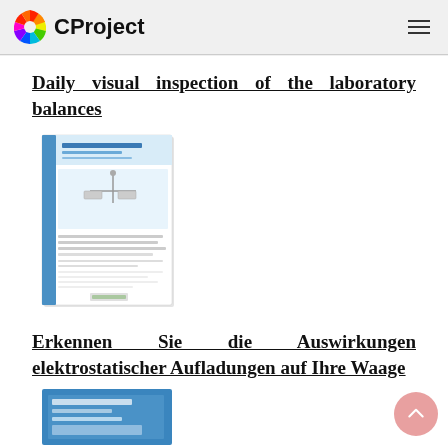CProject
Daily visual inspection of the laboratory balances
[Figure (photo): Thumbnail image of a document titled '5 Key Balance Start Guide for the Conformance Test', showing a laboratory balance graphic on a white/blue brochure cover.]
Erkennen Sie die Auswirkungen elektrostatischer Aufladungen auf Ihre Waage
[Figure (photo): Partial thumbnail of a document with a blue cover, partially visible at the bottom of the page.]